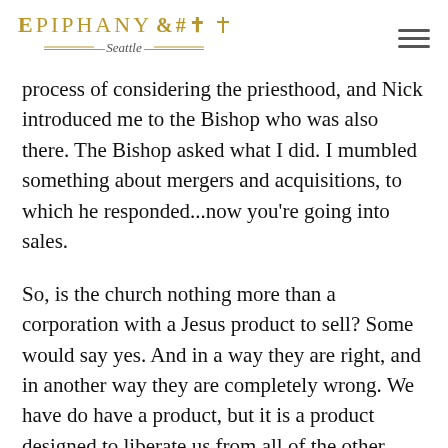EPIPHANY Seattle
process of considering the priesthood, and Nick introduced me to the Bishop who was also there. The Bishop asked what I did. I mumbled something about mergers and acquisitions, to which he responded...now you're going into sales.
So, is the church nothing more than a corporation with a Jesus product to sell? Some would say yes. And in a way they are right, and in another way they are completely wrong. We have do have a product, but it is a product designed to liberate us from all of the other products. It is a product designed to give us